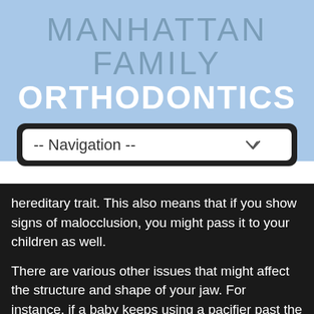MANHATTAN FAMILY ORTHODONTICS
[Figure (screenshot): Navigation dropdown menu with '-- Navigation --' placeholder text and a chevron arrow on the right, styled with dark border/background]
hereditary trait. This also means that if you show signs of malocclusion, you might pass it to your children as well.
There are various other issues that might affect the structure and shape of your jaw. For instance, if a baby keeps using a pacifier past the age of 3, then there is a risk that they might develop malocclusion later on. This is also the case if they used a baby bottle for a